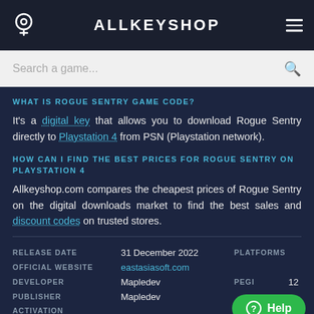ALLKEYSHOP
Search a game...
WHAT IS ROGUE SENTRY GAME CODE?
It's a digital key that allows you to download Rogue Sentry directly to Playstation 4 from PSN (Playstation network).
HOW CAN I FIND THE BEST PRICES FOR ROGUE SENTRY ON PLAYSTATION 4
Allkeyshop.com compares the cheapest prices of Rogue Sentry on the digital downloads market to find the best sales and discount codes on trusted stores.
| RELEASE DATE | 31 December 2022 | PLATFORMS |
| OFFICIAL WEBSITE | eastasiasoft.com |  |
| DEVELOPER | Mapledev | PEGI | 12 |
| PUBLISHER | Mapledev |  |
| ACTIVATION |  | TAGS |